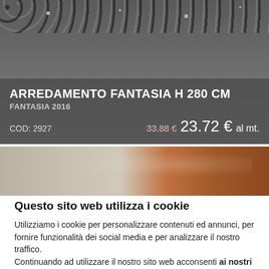[Figure (photo): Product banner showing a decorative fabric/curtain with floral pattern in grey tones. Contains product title, subtitle, code and price information overlaid.]
ARREDAMENTO FANTASIA H 280 CM
FANTASIA 2016
COD: 2927    33.88 € 23.72 € al mt.
[Figure (photo): Partial view of a second product image showing warm brown/wood tones, possibly fabric or furniture close-up.]
Questo sito web utilizza i cookie
Utilizziamo i cookie per personalizzare contenuti ed annunci, per fornire funzionalità dei social media e per analizzare il nostro traffico.
Continuando ad utilizzare il nostro sito web acconsenti ai nostri cookie.
OK